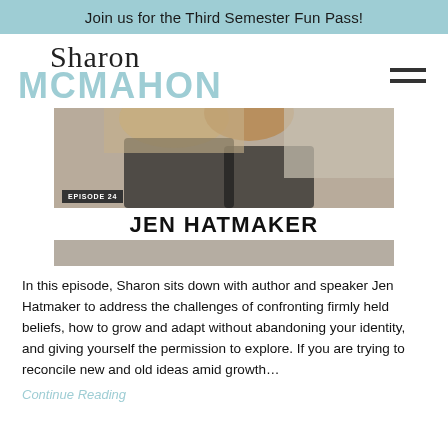Join us for the Third Semester Fun Pass!
Sharon McMahon
[Figure (photo): Episode 24 thumbnail showing Jen Hatmaker with episode badge and name overlay]
In this episode, Sharon sits down with author and speaker Jen Hatmaker to address the challenges of confronting firmly held beliefs, how to grow and adapt without abandoning your identity, and giving yourself the permission to explore. If you are trying to reconcile new and old ideas amid growth…
Continue Reading